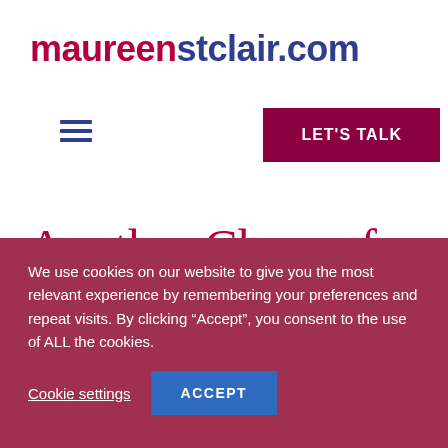maureenstclair.com
[Figure (other): Hamburger menu icon (three horizontal lines)]
LET'S TALK
Another Charge for Sexual
We use cookies on our website to give you the most relevant experience by remembering your preferences and repeat visits. By clicking “Accept”, you consent to the use of ALL the cookies.
Cookie settings
ACCEPT